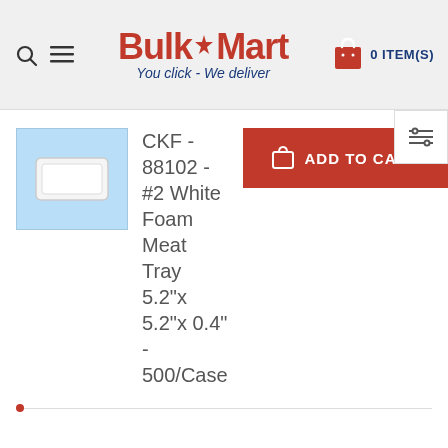[Figure (logo): BulkMart logo with maple leaf and tagline 'You click - We deliver']
[Figure (other): White foam meat tray product image on light blue background]
CKF - 88102 - #2 White Foam Meat Tray 5.2"x 5.2"x 0.4" - 500/Case
ADD TO CART
ALSO PURCHASED
[Figure (photo): Product bag with SAVE -15% badge]
[Figure (photo): Product with SAVE badge (partially visible)]